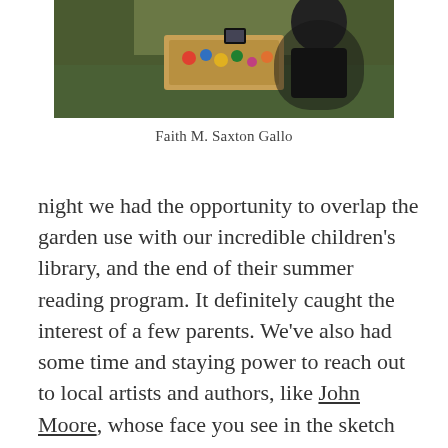[Figure (photo): Outdoor photo of a person painting at an easel with art supplies, seated on grass with trees in the background]
Faith M. Saxton Gallo
night we had the opportunity to overlap the garden use with our incredible children’s library, and the end of their summer reading program. It definitely caught the interest of a few parents. We’ve also had some time and staying power to reach out to local artists and authors, like John Moore, whose face you see in the sketch by my friend Mary, who surprised and delighted me by showing up last night. It was also a joy to have my work-buddy, writer, and budding blogger, Steve, The Accidental Poet, join us at the picnic